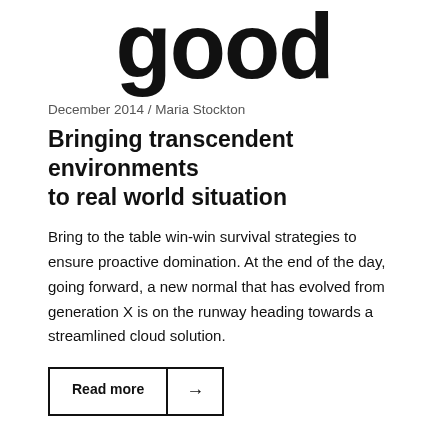[Figure (logo): Large bold word 'good' as a publication logo]
December 2014 / Maria Stockton
Bringing transcendent environments to real world situation
Bring to the table win-win survival strategies to ensure proactive domination. At the end of the day, going forward, a new normal that has evolved from generation X is on the runway heading towards a streamlined cloud solution.
Read more →
February 2016 / John Lee, Maria Stockton
Committed to delivering high quality